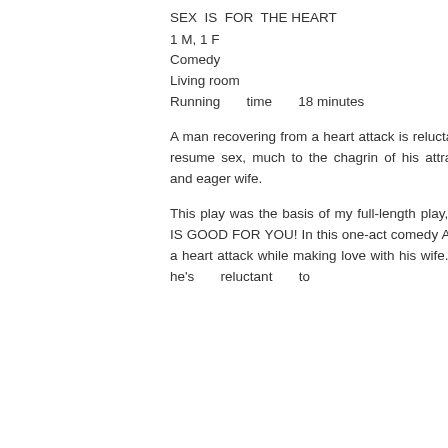SEX IS FOR THE HEART
1 M, 1 F
Comedy
Living room
Running time 18 minutes
A man recovering from a heart attack is reluctant to resume sex, much to the chagrin of his attractive and eager wife.
This play was the basis of my full-length play, SEX IS GOOD FOR YOU! In this one-act comedy Al had a heart attack while making love with his wife. Now he's reluctant to